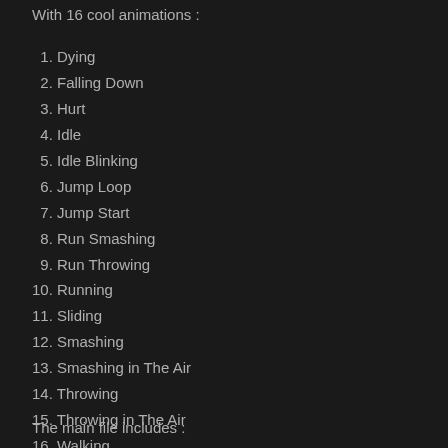With 16 cool animations :
1. Dying
2. Falling Down
3. Hurt
4. Idle
5. Idle Blinking
6. Jump Loop
7. Jump Start
8. Run Smashing
9. Run Throwing
10. Running
11. Sliding
12. Smashing
13. Smashing in The Air
14. Throwing
15. Throwing in The Air
16. Walking
The main file includes :